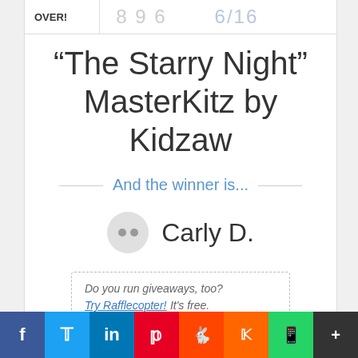OVER!
“The Starry Night” MasterKitz by Kidzaw
And the winner is...
Carly D.
Do you run giveaways, too? Try Rafflecopter! It’s free.
Social share bar: Facebook, Twitter, LinkedIn, Pinterest, Reddit, Mix, WhatsApp, More